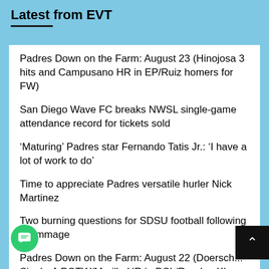Latest from EVT
Padres Down on the Farm: August 23 (Hinojosa 3 hits and Campusano HR in EP/Ruiz homers for FW)
San Diego Wave FC breaks NWSL single-game attendance record for tickets sold
‘Maturing’ Padres star Fernando Tatis Jr.: ‘I have a lot of work to do’
Time to appreciate Padres versatile hurler Nick Martinez
Two burning questions for SDSU football following scrimmage
Padres Down on the Farm: August 22 (Doersch... Single-A POTW/Murillo HR in DSL/Rondon K’... ACL)